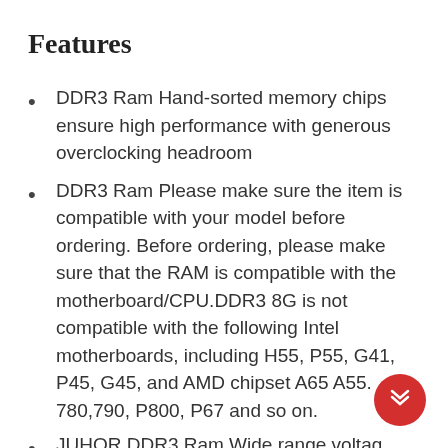Features
DDR3 Ram Hand-sorted memory chips ensure high performance with generous overclocking headroom
DDR3 Ram Please make sure the item is compatible with your model before ordering. Before ordering, please make sure that the RAM is compatible with the motherboard/CPU.DDR3 8G is not compatible with the following Intel motherboards, including H55, P55, G41, P45, G45, and AMD chipset A65 A55. 780,790, P800, P67 and so on.
JUHOR DDR3 Ram Wide range voltage 1.35V~1.5V voltage range can work normally.